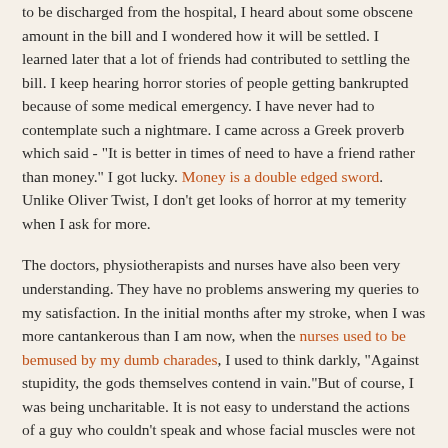to be discharged from the hospital, I heard about some obscene amount in the bill and I wondered how it will be settled. I learned later that a lot of friends had contributed to settling the bill. I keep hearing horror stories of people getting bankrupted because of some medical emergency. I have never had to contemplate such a nightmare. I came across a Greek proverb which said - "It is better in times of need to have a friend rather than money." I got lucky. Money is a double edged sword. Unlike Oliver Twist, I don't get looks of horror at my temerity when I ask for more.
The doctors, physiotherapists and nurses have also been very understanding. They have no problems answering my queries to my satisfaction. In the initial months after my stroke, when I was more cantankerous than I am now, when the nurses used to be bemused by my dumb charades, I used to think darkly, "Against stupidity, the gods themselves contend in vain."But of course, I was being uncharitable. It is not easy to understand the actions of a guy who couldn't speak and whose facial muscles were not very mobile. It took quite a while for me to realise this. Though wisdom oft has sought me,/I scorned the lore she brought me.
And what do I have to do in return? Sometimes I may have to